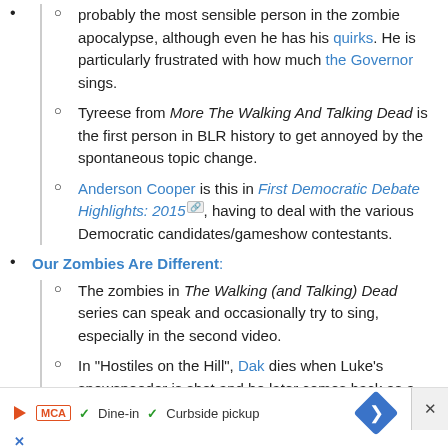probably the most sensible person in the zombie apocalypse, although even he has his quirks. He is particularly frustrated with how much the Governor sings.
Tyreese from More The Walking And Talking Dead is the first person in BLR history to get annoyed by the spontaneous topic change.
Anderson Cooper is this in First Democratic Debate Highlights: 2015, having to deal with the various Democratic candidates/gameshow contestants.
Our Zombies Are Different:
The zombies in The Walking (and Talking) Dead series can speak and occasionally try to sing, especially in the second video.
In "Hostiles on the Hill", Dak dies when Luke's snowspeeder is shot and he later comes back as a